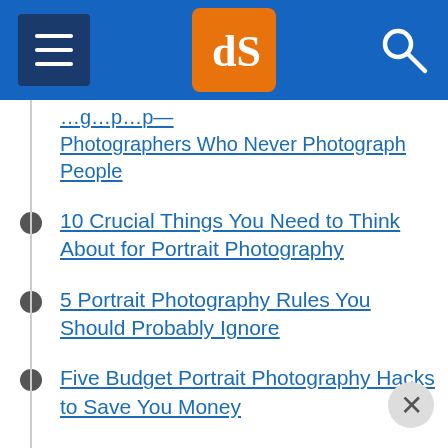dPS navigation bar
Photographers Who Never Photograph People
10 Crucial Things You Need to Think About for Portrait Photography
5 Portrait Photography Rules You Should Probably Ignore
Five Budget Portrait Photography Hacks to Save You Money
8 Lessons Learned from My First Attempt at Portrait Photography
How Self-Portraiture Makes You a Better